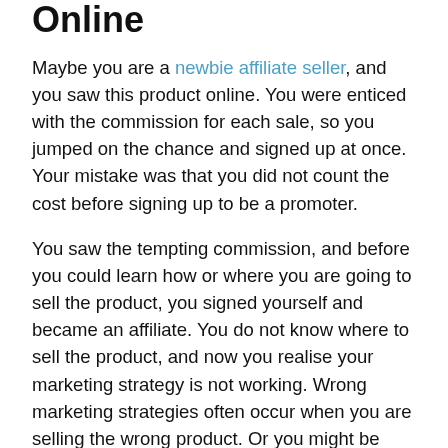Online
Maybe you are a newbie affiliate seller, and you saw this product online. You were enticed with the commission for each sale, so you jumped on the chance and signed up at once. Your mistake was that you did not count the cost before signing up to be a promoter.
You saw the tempting commission, and before you could learn how or where you are going to sell the product, you signed yourself and became an affiliate. You do not know where to sell the product, and now you realise your marketing strategy is not working. Wrong marketing strategies often occur when you are selling the wrong product. Or you might be selling, but the sales you're getting are less than what you were hoping for.